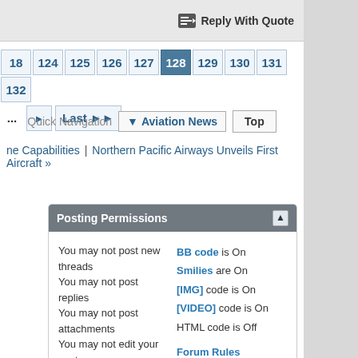Reply With Quote
18  124  125  126  127  128  129  130  131  132  ...  ▶  Last ▶▶
Quick Navigation  ▼ Aviation News  Top
ne Capabilities | Northern Pacific Airways Unveils First Aircraft »
Posting Permissions
You may not post new threads
You may not post replies
You may not post attachments
You may not edit your posts
BB code is On
Smilies are On
[IMG] code is On
[VIDEO] code is On
HTML code is Off
Forum Rules